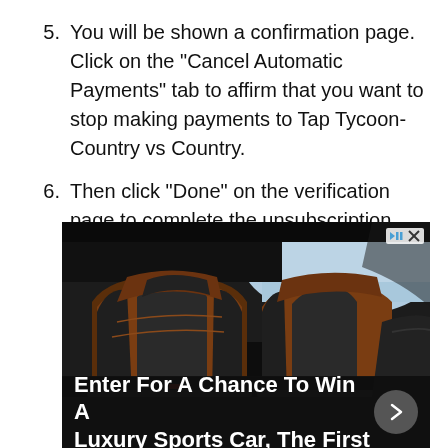5. You will be shown a confirmation page. Click on the "Cancel Automatic Payments" tab to affirm that you want to stop making payments to Tap Tycoon-Country vs Country.
6. Then click "Done" on the verification page to complete the unsubscription.
[Figure (photo): Advertisement showing luxury sports car interior with brown and black leather bucket seats. Overlay text reads 'Enter For A Chance To Win A Luxury Sports Car, The First' with a circular arrow button. Ad controls (play/close icons) visible in top right.]